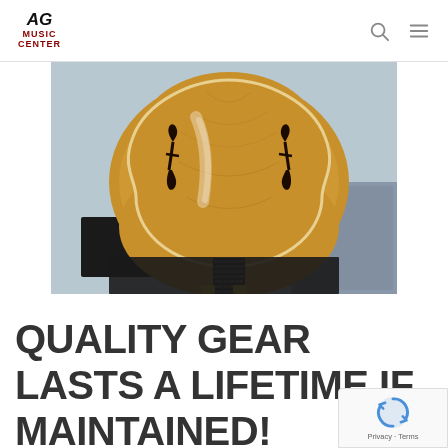AG Music Center
[Figure (photo): Top view of an archtop guitar body showing f-holes and fingerboard, with warm honey-brown wood finish, resting on a dark surface]
QUALITY GEAR LASTS A LIFETIME IF MAINTAINED!